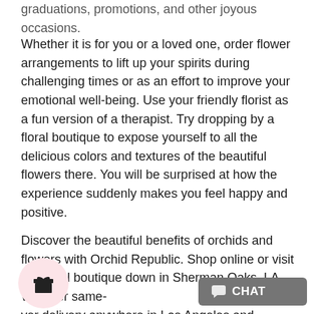graduations, promotions, and other joyous occasions.
Whether it is for you or a loved one, order flower arrangements to lift up your spirits during challenging times or as an effort to improve your emotional well-being. Use your friendly florist as a fun version of a therapist. Try dropping by a floral boutique to expose yourself to all the delicious colors and textures of the beautiful flowers there. You will be surprised at how the experience suddenly makes you feel happy and positive.
Discover the beautiful benefits of orchids and flowers with Orchid Republic. Shop online or visit our floral boutique down in Sherman Oaks, LA. We offer same-[day/next-]ver delivery anywhere in Los Angeles and [Orange] County.
[Figure (illustration): Gift box icon inside a pink circle]
[Figure (illustration): Chat button with speech bubble icon, grey background, text CHAT]